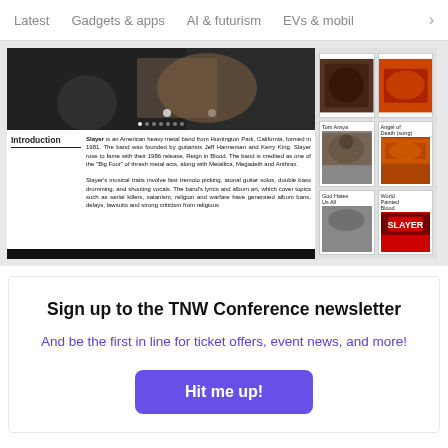Latest   Gadgets & apps   AI & futurism   EVs & mobil  >
[Figure (screenshot): A screenshot of a Wikipedia-style article about Slayer, showing a header image of the band, an Introduction section with text about Slayer being an American heavy metal band from Huntington Park, California, and a sidebar with thumbnail images labeled Tom Araya, Angel of Death (song), God Hates Us All, and World Painted Blood.]
Sign up to the TNW Conference newsletter
And be the first in line for ticket offers, event news, and more!
Hit me up!